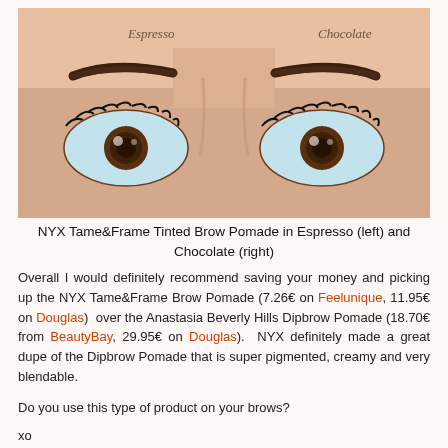[Figure (photo): Close-up photo of a woman's eyes and eyebrows. The left eyebrow is labeled 'Espresso' in italic text and the right eyebrow is labeled 'Chocolate' in italic text. Both eyebrows are well-defined and dark. The eyes have brown irises and full eyelashes.]
NYX Tame&Frame Tinted Brow Pomade in Espresso (left) and Chocolate (right)
Overall I would definitely recommend saving your money and picking up the NYX Tame&Frame Brow Pomade (7.26€ on Feelunique, 11.95€ on Douglas) over the Anastasia Beverly Hills Dipbrow Pomade (18.70€ from BeautyBay, 29.95€ on Douglas). NYX definitely made a great dupe of the Dipbrow Pomade that is super pigmented, creamy and very blendable.
Do you use this type of product on your brows?
xo